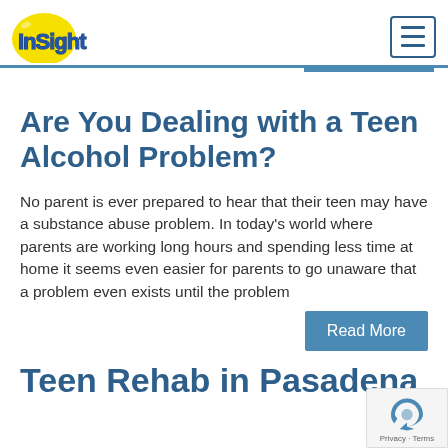InSight logo and navigation menu
Are You Dealing with a Teen Alcohol Problem?
No parent is ever prepared to hear that their teen may have a substance abuse problem. In today's world where parents are working long hours and spending less time at home it seems even easier for parents to go unaware that a problem even exists until the problem
Teen Rehab in Pasadena